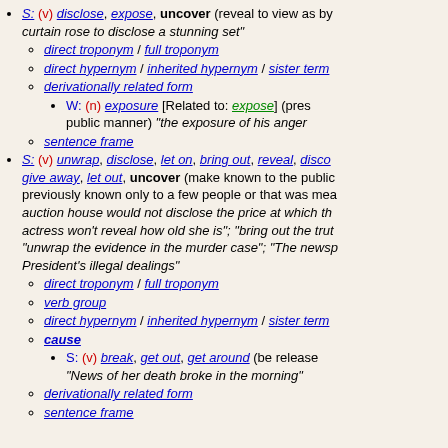S: (v) disclose, expose, uncover (reveal to view as by... curtain rose to disclose a stunning set"
direct troponym / full troponym
direct hypernym / inherited hypernym / sister term
derivationally related form
W: (n) exposure [Related to: expose] (pres... public manner) "the exposure of his anger..."
sentence frame
S: (v) unwrap, disclose, let on, bring out, reveal, disco... give away, let out, uncover (make known to the public... previously known only to a few people or that was mea... auction house would not disclose the price at which th... actress won't reveal how old she is"; "bring out the trut... "unwrap the evidence in the murder case"; "The newsp... President's illegal dealings"
direct troponym / full troponym
verb group
direct hypernym / inherited hypernym / sister term
cause
S: (v) break, get out, get around (be release... "News of her death broke in the morning"
derivationally related form
sentence frame